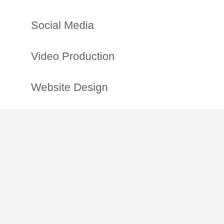Social Media
Video Production
Website Design
Paid Media
2021 Stats